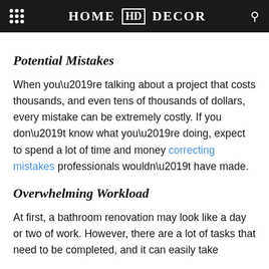HOME HD DECOR
Potential Mistakes
When you’re talking about a project that costs thousands, and even tens of thousands of dollars, every mistake can be extremely costly. If you don’t know what you’re doing, expect to spend a lot of time and money correcting mistakes professionals wouldn’t have made.
Overwhelming Workload
At first, a bathroom renovation may look like a day or two of work. However, there are a lot of tasks that need to be completed, and it can easily take